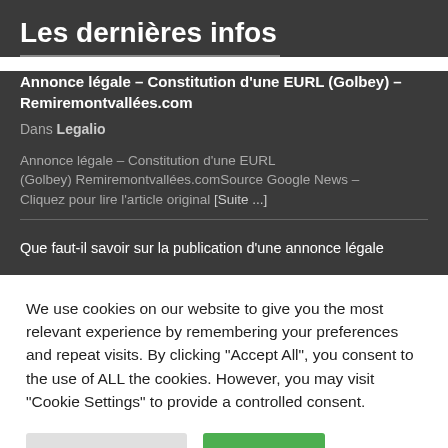Les dernières infos
Annonce légale – Constitution d'une EURL (Golbey) – Remiremontvallées.com
Dans Legalio
Annonce légale – Constitution d'une EURL (Golbey)  Remiremontvallées.comSource Google News – Cliquez pour lire l'article original [Suite ...]
Que faut-il savoir sur la publication d'une annonce légale
We use cookies on our website to give you the most relevant experience by remembering your preferences and repeat visits. By clicking "Accept All", you consent to the use of ALL the cookies. However, you may visit "Cookie Settings" to provide a controlled consent.